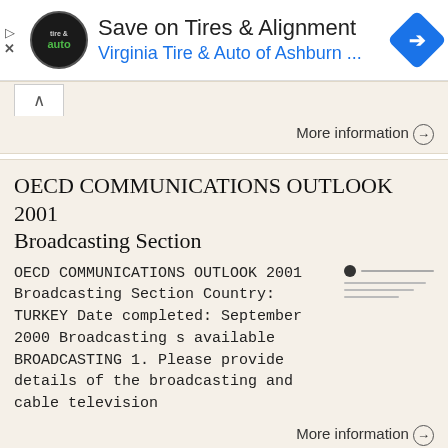[Figure (screenshot): Ad banner for Virginia Tire & Auto of Ashburn with logo, navigation icon, and ad controls]
More information →
OECD COMMUNICATIONS OUTLOOK 2001 Broadcasting Section
OECD COMMUNICATIONS OUTLOOK 2001 Broadcasting Section Country: TURKEY Date completed: September 2000 Broadcasting s available BROADCASTING 1. Please provide details of the broadcasting and cable television
More information →
Official Journal of the European Union L 117/05